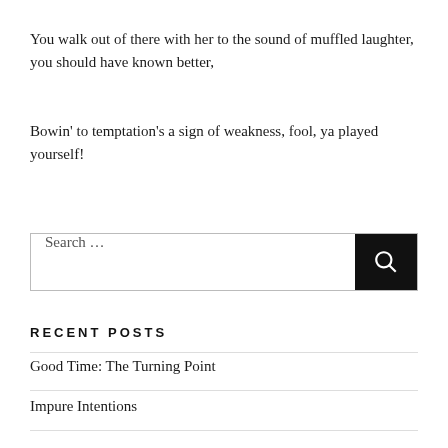You walk out of there with her to the sound of muffled laughter, you should have known better,
Bowin' to temptation's a sign of weakness, fool, ya played yourself!
Search …
RECENT POSTS
Good Time: The Turning Point
Impure Intentions
Three Act…